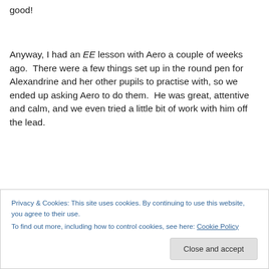good!
Anyway, I had an EE lesson with Aero a couple of weeks ago.  There were a few things set up in the round pen for Alexandrine and her other pupils to practise with, so we ended up asking Aero to do them.  He was great, attentive and calm, and we even tried a little bit of work with him off the lead.
Privacy & Cookies: This site uses cookies. By continuing to use this website, you agree to their use.
To find out more, including how to control cookies, see here: Cookie Policy
Close and accept